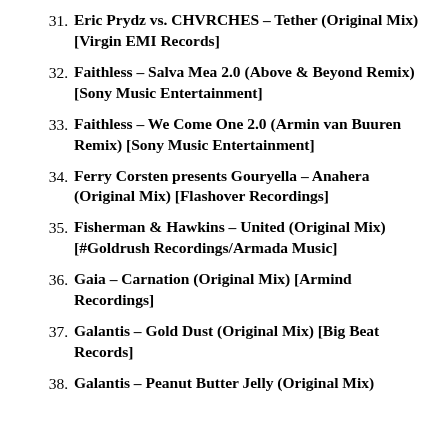31. Eric Prydz vs. CHVRCHES – Tether (Original Mix) [Virgin EMI Records]
32. Faithless – Salva Mea 2.0 (Above & Beyond Remix) [Sony Music Entertainment]
33. Faithless – We Come One 2.0 (Armin van Buuren Remix) [Sony Music Entertainment]
34. Ferry Corsten presents Gouryella – Anahera (Original Mix) [Flashover Recordings]
35. Fisherman & Hawkins – United (Original Mix) [#Goldrush Recordings/Armada Music]
36. Gaia – Carnation (Original Mix) [Armind Recordings]
37. Galantis – Gold Dust (Original Mix) [Big Beat Records]
38. Galantis – Peanut Butter Jelly (Original Mix)